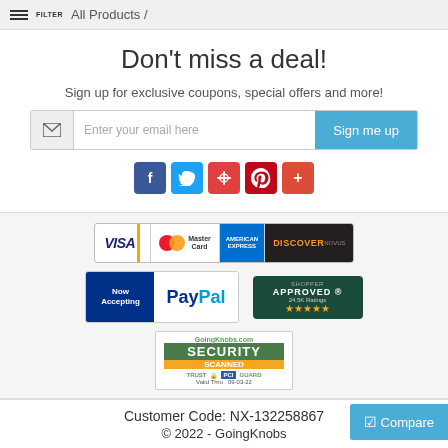FILTER / All Products /
Don't miss a deal!
Sign up for exclusive coupons, special offers and more!
[Figure (screenshot): Email signup form with envelope icon, Enter your email here placeholder, and Sign me up button]
[Figure (screenshot): Social media icons: Facebook, Twitter, Houzz, Pinterest, and a plus icon]
[Figure (screenshot): Credit card logos: VISA, MasterCard, American Express, Discover]
[Figure (screenshot): Now Accepting PayPal badge and Shopper Approved 24.5K Ratings badge with 5 stars]
[Figure (screenshot): GoingKnobs.com Security Scanned Trust Guard PCI badge, Valid Thru 09-03-22]
Compare
Customer Code: NX-132258867
© 2022 - GoingKnobs